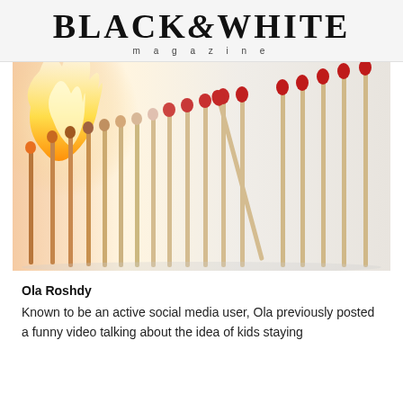BLACK&WHITE magazine
[Figure (photo): A row of matchsticks in a line; the left side shows a bright orange flame with already-burned matches glowing, transitioning to unburned matches with red tips on the right side. One match in the middle right leans away from the row.]
Ola Roshdy
Known to be an active social media user, Ola previously posted a funny video talking about the idea of kids staying